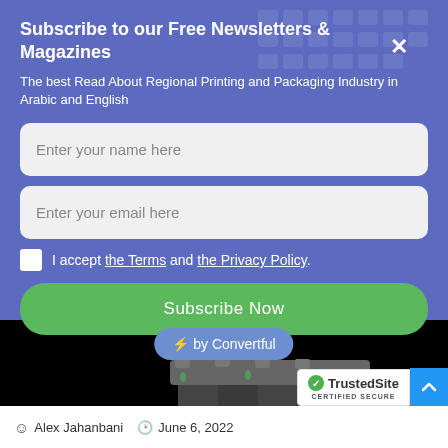Subscribe to our Free Newsletters & Magazines
The best Read About Regional Printing and Packaging Industry in Arabic and English
Enter your name here
Enter your email here
I accept the Terms and the Privacy Policy.
Subscribe Now
⚡ by Convertful
[Figure (photo): Industrial machinery with copper tubes and mechanical components on black background]
TrustedSite CERTIFIED SECURE
Alex Jahanbani  June 6, 2022